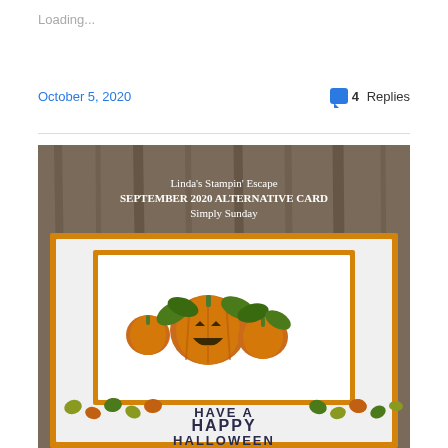Loading...
October 5, 2020
4 Replies
[Figure (photo): A Halloween card craft by Linda's Stampin' Escape showing jack-o-lanterns with green leaves on a white card front with orange border, text overlay: Linda's Stampin' Escape SEPTEMBER 2020 ALTERNATIVE CARD Simply Sunday. Bottom of card shows autumn leaves and 'HAVE A HAPPY HALLOWEEN' text.]